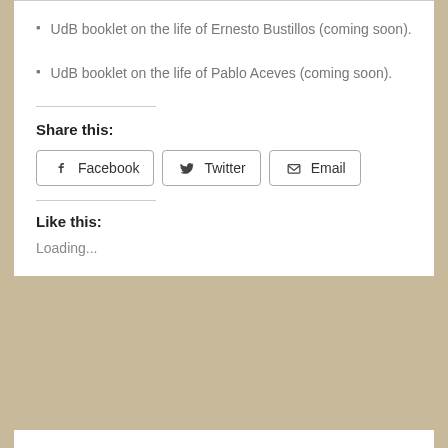UdB booklet on the life of Ernesto Bustillos (coming soon).
UdB booklet on the life of Pablo Aceves (coming soon).
Share this:
Facebook  Twitter  Email
Like this:
Loading...